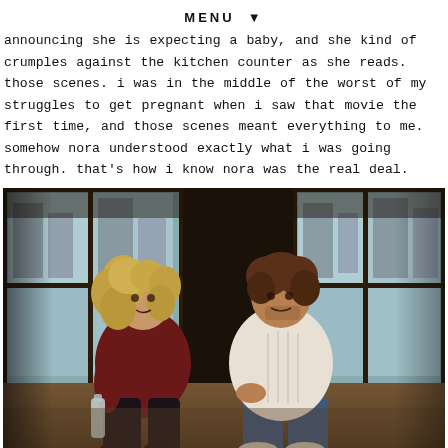MENU ▼
announcing she is expecting a baby, and she kind of crumples against the kitchen counter as she reads. those scenes. i was in the middle of the worst of my struggles to get pregnant when i saw that movie the first time, and those scenes meant everything to me. somehow nora understood exactly what i was going through. that's how i know nora was the real deal.
[Figure (photo): A man and woman sitting close together on what appears to be a window ledge or floor, engaged in conversation. The woman has curly blonde hair and wears a dark red/burgundy top. The man wears a white cable-knit sweater and jeans. Large windows with city buildings visible behind them. Film still from a movie.]